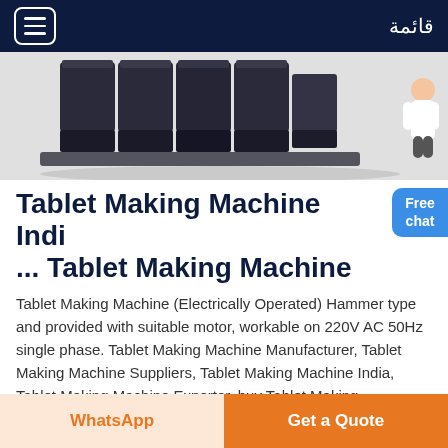قائمة
[Figure (photo): Industrial tablet making machine parts, dark metallic components arranged in a row viewed from above, on white background]
Tablet Making Machine Indi... Tablet Making Machine
Tablet Making Machine (Electrically Operated) Hammer type and provided with suitable motor, workable on 220V AC 50Hz single phase. Tablet Making Machine Manufacturer, Tablet Making Machine Suppliers, Tablet Making Machine India, Tablet Making Machine Exporter, buy Tablet Making machine...
WhatsApp | Get a Quote